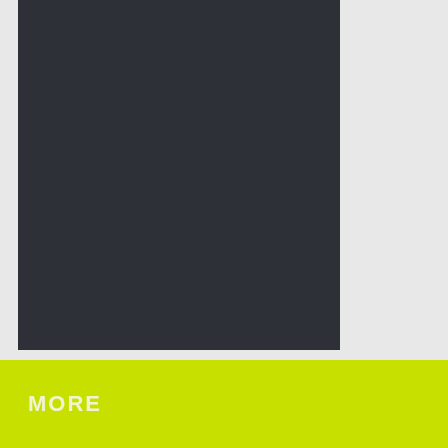[Figure (other): Dark charcoal/near-black rectangular panel on a light grey background]
MORE